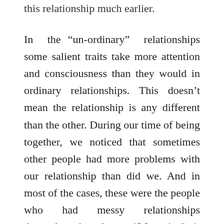this relationship much earlier.
In the “un-ordinary” relationships some salient traits take more attention and consciousness than they would in ordinary relationships. This doesn’t mean the relationship is any different than the other. During our time of being together, we noticed that sometimes other people had more problems with our relationship than did we. And in most of the cases, these were the people who had messy relationships themselves (you know: if I can’t do it properly, I will teach others how to do it). However we were very lucky: my